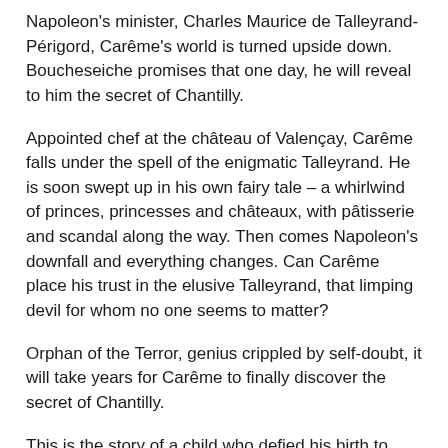Napoleon's minister, Charles Maurice de Talleyrand-Périgord, Carême's world is turned upside down. Boucheseiche promises that one day, he will reveal to him the secret of Chantilly.
Appointed chef at the château of Valençay, Carême falls under the spell of the enigmatic Talleyrand. He is soon swept up in his own fairy tale – a whirlwind of princes, princesses and châteaux, with pâtisserie and scandal along the way. Then comes Napoleon's downfall and everything changes. Can Carême place his trust in the elusive Talleyrand, that limping devil for whom no one seems to matter?
Orphan of the Terror, genius crippled by self-doubt, it will take years for Carême to finally discover the secret of Chantilly.
This is the story of a child who defied his birth to become a legend of French gastronomy and of the unimaginable friendship between two men from entirely different worlds.
From the streets of Paris to the château of Valençay, from the congress of Vienna to the dazzling ballrooms of France's richest man, Carême recounts adventures colored with spice, humor and…